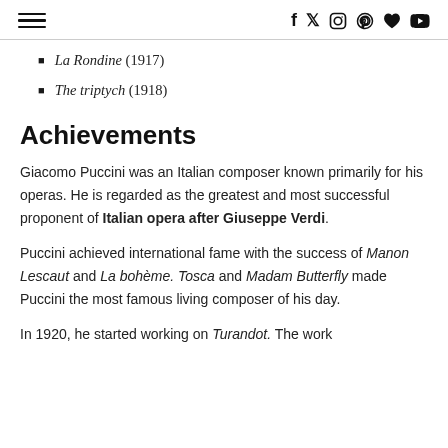≡  f  t  instagram  pinterest  heart  youtube
La Rondine (1917)
The triptych (1918)
Achievements
Giacomo Puccini was an Italian composer known primarily for his operas. He is regarded as the greatest and most successful proponent of Italian opera after Giuseppe Verdi.
Puccini achieved international fame with the success of Manon Lescaut and La bohème. Tosca and Madam Butterfly made Puccini the most famous living composer of his day.
In 1920, he started working on Turandot. The work